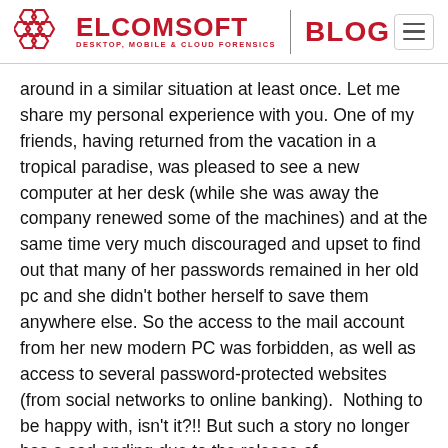ELCOMSOFT | BLOG — DESKTOP, MOBILE & CLOUD FORENSICS
around in a similar situation at least once. Let me share my personal experience with you. One of my friends, having returned from the vacation in a tropical paradise, was pleased to see a new computer at her desk (while she was away the company renewed some of the machines) and at the same time very much discouraged and upset to find out that many of her passwords remained in her old pc and she didn't bother herself to save them anywhere else. So the access to the mail account from her new modern PC was forbidden, as well as access to several password-protected websites (from social networks to online banking).  Nothing to be happy with, isn't it?!! But such a story no longer has a sad ending due to the release of